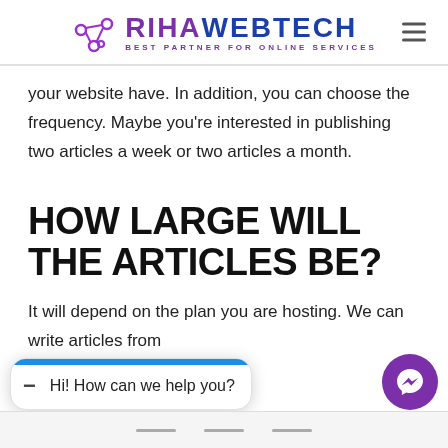[Figure (logo): Riha Webtech logo with purple network icon, purple RIHA text, dark blue WEBTECH text, and subtitle BEST PARTNER FOR ONLINE SERVICES]
your website have. In addition, you can choose the frequency. Maybe you’re interested in publishing two articles a week or two articles a month.
HOW LARGE WILL THE ARTICLES BE?
It will depend on the plan you are hosting. We can write articles from
[Figure (screenshot): Chat widget overlay with blue bar, minimize button, and text: Hi! How can we help you? With purple Messenger button on the right.]